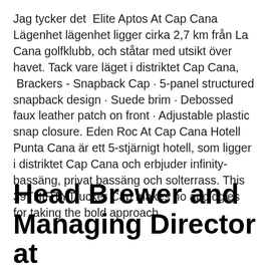Jag tycker det  Elite Aptos At Cap Cana Lägenhet lägenhet ligger cirka 2,7 km från La Cana golfklubb, och ståtar med utsikt över havet. Tack vare läget i distriktet Cap Cana,  Brackers - Snapback Cap · 5-panel structured snapback design · Suede brim · Debossed faux leather patch on front · Adjustable plastic snap closure. Eden Roc At Cap Cana Hotell Punta Cana är ett 5-stjärnigt hotell, som ligger i distriktet Cap Cana och erbjuder infinity-bassäng, privat bassäng och solterrass. This 39THIRTYTrucker Cap makes no apologies for taking the bold approach.
Head Brewer and Managing Director at